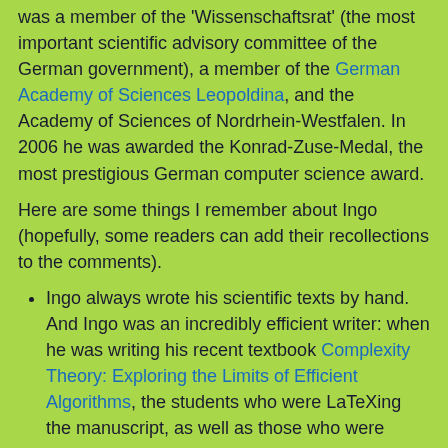was a member of the 'Wissenschaftsrat' (the most important scientific advisory committee of the German government), a member of the German Academy of Sciences Leopoldina, and the Academy of Sciences of Nordrhein-Westfalen. In 2006 he was awarded the Konrad-Zuse-Medal, the most prestigious German computer science award.
Here are some things I remember about Ingo (hopefully, some readers can add their recollections to the comments).
Ingo always wrote his scientific texts by hand. And Ingo was an incredibly efficient writer: when he was writing his recent textbook Complexity Theory: Exploring the Limits of Efficient Algorithms, the students who were LaTeXing the manuscript, as well as those who were proof-reading it, used to complain that Ingo was preparing the manuscripts too fast for them to keep up. (Ingo was on Sabbatical, though.)
Ingo was a gifted teacher. The students of the University Dortmund had an evaluation system, where each term they would elect the worst teacher,